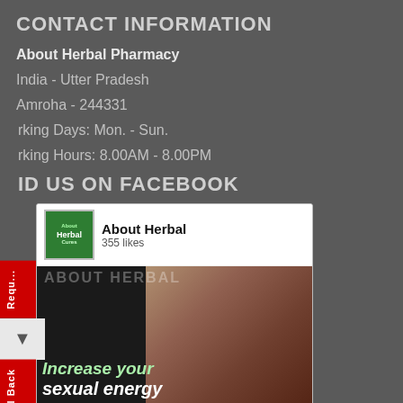CONTACT INFORMATION
About Herbal Pharmacy
India - Utter Pradesh
Amroha - 244331
Working Days: Mon. - Sun.
Working Hours: 8.00AM - 8.00PM
FIND US ON FACEBOOK
[Figure (screenshot): Facebook page widget for 'About Herbal' showing 355 likes, a banner image with text 'Increase your sexual energy', a Like Page button, and a green herbal cures logo icon.]